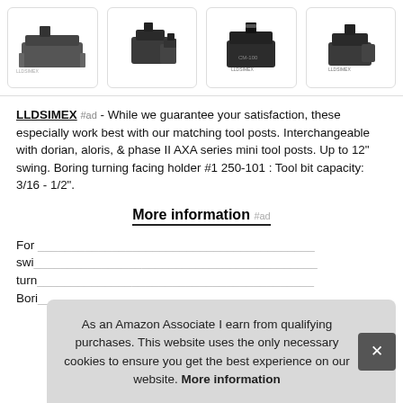[Figure (photo): Four product photos of tool holders/lathe tool posts arranged in a horizontal row]
LLDSIMEX #ad - While we guarantee your satisfaction, these especially work best with our matching tool posts. Interchangeable with dorian, aloris, & phase II AXA series mini tool posts. Up to 12" swing. Boring turning facing holder #1 250-101 : Tool bit capacity: 3/16 - 1/2".
More information #ad
For ... swi... turn... Bori...
As an Amazon Associate I earn from qualifying purchases. This website uses the only necessary cookies to ensure you get the best experience on our website. More information